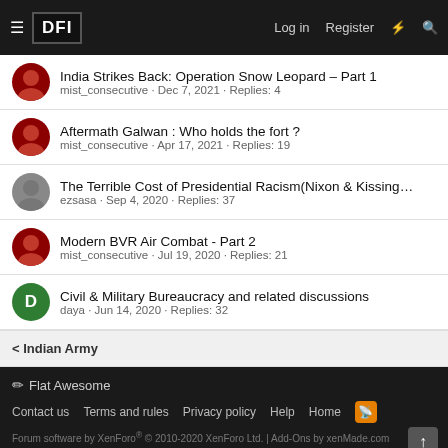DFI | Log in | Register
India Strikes Back: Operation Snow Leopard – Part 1 | mist_consecutive · Dec 7, 2021 · Replies: 4
Aftermath Galwan : Who holds the fort ? | mist_consecutive · Apr 17, 2021 · Replies: 19
The Terrible Cost of Presidential Racism(Nixon & Kissing… | ezsasa · Sep 4, 2020 · Replies: 37
Modern BVR Air Combat - Part 2 | mist_consecutive · Jul 19, 2020 · Replies: 21
Civil & Military Bureaucracy and related discussions | daya · Jun 14, 2020 · Replies: 32
< Indian Army
Flat Awesome | Contact us | Terms and rules | Privacy policy | Help | Home | Forum software by XenForo® © 2010-2020 XenForo Ltd. | Add-Ons by xenMade.com XenPorta 2 PRO © Jason Axelrod of 8WAYRUN